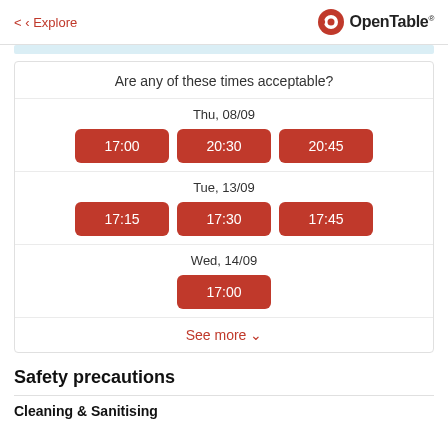< Explore   OpenTable
Are any of these times acceptable?
Thu, 08/09
17:00   20:30   20:45
Tue, 13/09
17:15   17:30   17:45
Wed, 14/09
17:00
See more
Safety precautions
Cleaning & Sanitising